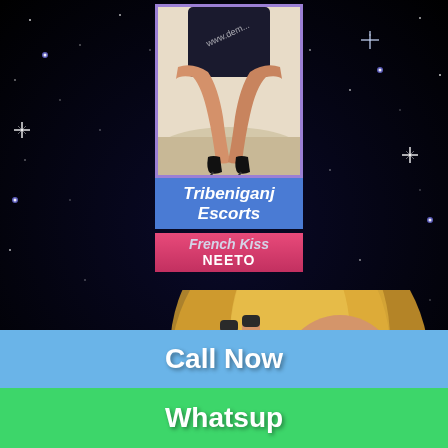[Figure (illustration): Dark starfield background with sparkling stars in black and deep blue]
[Figure (photo): Small photo of woman's legs in heels on a bed, with watermark text 'www.dem...']
Tribeniganj Escorts
French Kiss
NEETO
[Figure (illustration): Illustrated/cartoon blonde woman making peace sign and holding a phone, lower half of page]
Call Now
Whatsup